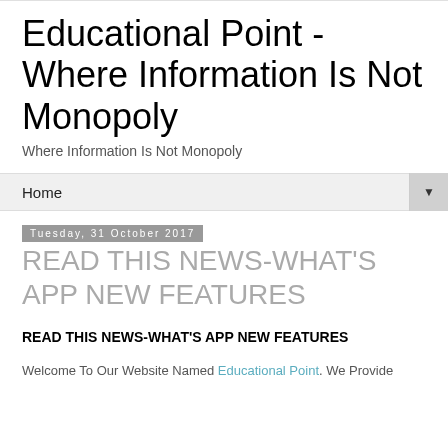Educational Point - Where Information Is Not Monopoly
Where Information Is Not Monopoly
Home ▼
Tuesday, 31 October 2017
READ THIS NEWS-WHAT'S APP NEW FEATURES
READ THIS NEWS-WHAT'S APP NEW FEATURES
Welcome To Our Website Named Educational Point. We Provide